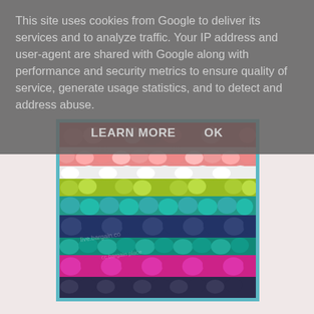This site uses cookies from Google to deliver its services and to analyze traffic. Your IP address and user-agent are shared with Google along with performance and security metrics to ensure quality of service, generate usage statistics, and to detect and address abuse.
LEARN MORE    OK
[Figure (photo): Close-up photo of colorful crocheted fabric in stripes of red, pink, green, teal, navy, and magenta, with a teal border frame around the image.]
so I set to work on a cheap plastic stool from a bargain shop and transformed it with the addition of a crocheted cover tadaa!
[Figure (photo): Partially visible photo at the bottom of the page with a teal border, content mostly cut off.]